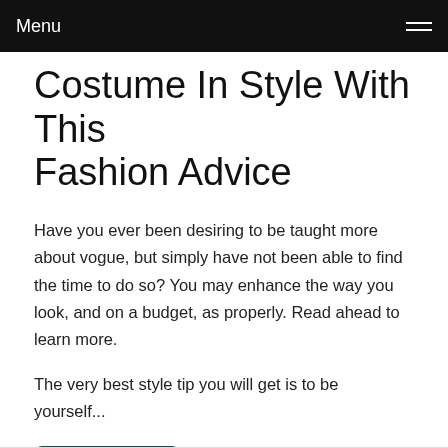Menu
Costume In Style With This Fashion Advice
Have you ever been desiring to be taught more about vogue, but simply have not been able to find the time to do so? You may enhance the way you look, and on a budget, as properly. Read ahead to learn more.
The very best style tip you will get is to be yourself...
Read more